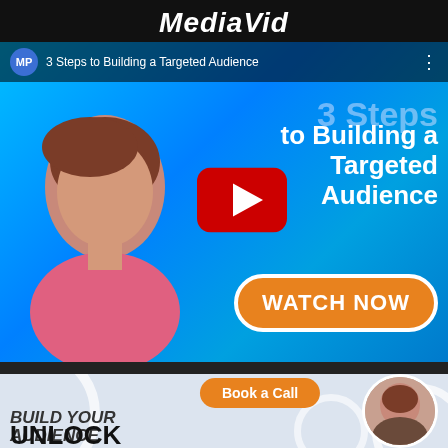MediaVid
[Figure (screenshot): YouTube video thumbnail showing a woman in a pink top against a blue background, with text '3 Steps to Building a Targeted Audience' and a YouTube play button, plus a 'WATCH NOW' orange button]
Book a Call
BUILD YOUR AUDIENCE
UNLOCK